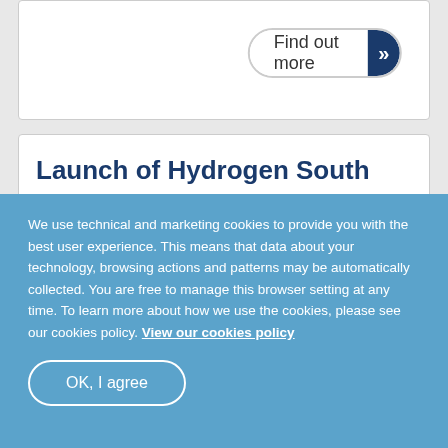[Figure (other): Find out more button with dark blue arrow chevron on the right, inside a white card area at top of page]
Launch of Hydrogen South West consortium to accelerate the transition to a net zero future
We use technical and marketing cookies to provide you with the best user experience. This means that data about your technology, browsing actions and patterns may be automatically collected. You are free to manage this browser setting at any time. To learn more about how we use the cookies, please see our cookies policy. View our cookies policy
OK, I agree